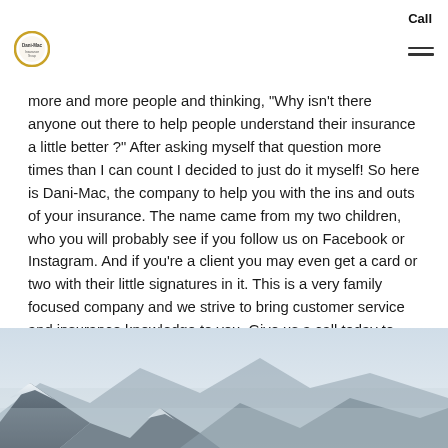Call
[Figure (logo): Dani-Mac Insurance logo — circular badge with gold ring and text]
more and more people and thinking, "Why isn't there anyone out there to help people understand their insurance a little better ?" After asking myself that question more times than I can count I decided to just do it myself! So here is Dani-Mac, the company to help you with the ins and outs of your insurance. The name came from my two children, who you will probably see if you follow us on Facebook or Instagram. And if you're a client you may even get a card or two with their little signatures in it. This is a very family focused company and we strive to bring customer service and insurance knowledge to you. Give us a call today to schedule a consultation!
[Figure (photo): Mountain landscape with snow-capped peaks against a hazy sky]